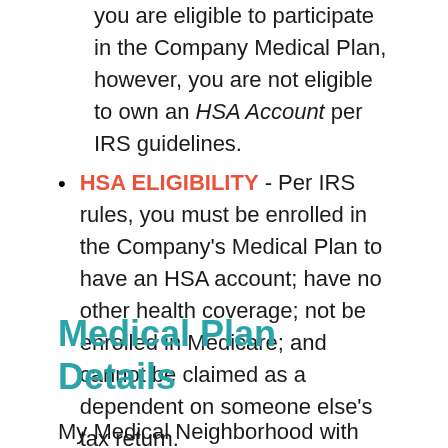you are eligible to participate in the Company Medical Plan, however, you are not eligible to own an HSA Account per IRS guidelines.
HSA ELIGIBILITY - Per IRS rules, you must be enrolled in the Company's Medical Plan to have an HSA account; have no other health coverage; not be enrolled in Medicare; and cannot be claimed as a dependent on someone else's tax return.
Medical Plan Details
My Medical Neighborhood with Cigna continues to be Mohawk's health care plan for employees working at our Muskogee, OK and Bennettsville, SC facilities. The Neighborhood consists of a select...